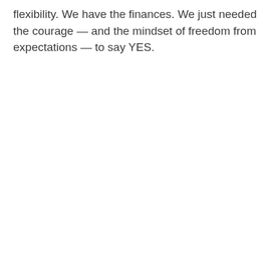flexibility. We have the finances. We just needed the courage — and the mindset of freedom from expectations — to say YES.